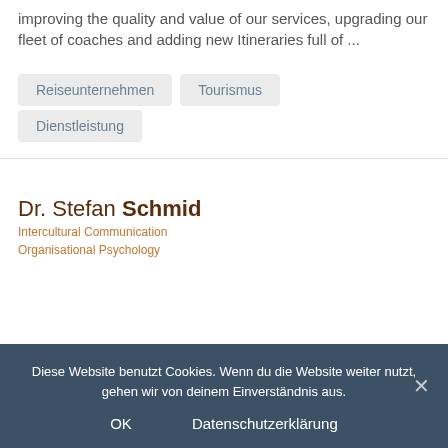improving the quality and value of our services, upgrading our fleet of coaches and adding new Itineraries full of ...
Reiseunternehmen
Tourismus
Dienstleistung
[Figure (logo): Dr. Stefan Schmid logo — name in brown/dark-red with bold Schmid, subtitle 'Intercultural Communication Organisational Psychology' in orange]
Diese Website benutzt Cookies. Wenn du die Website weiter nutzt, gehen wir von deinem Einverständnis aus.
OK    Datenschutzerklärung